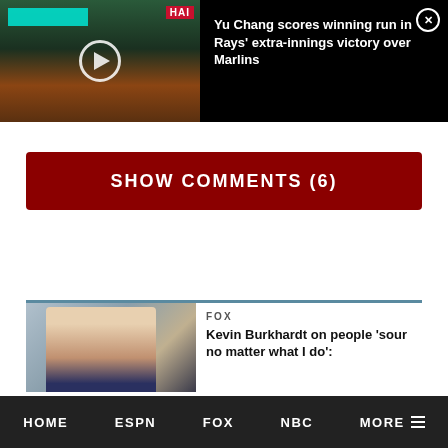[Figure (screenshot): Video thumbnail of a baseball game (Rays vs Marlins) with a play button overlay, cyan bar at top left, and HAI text badge at top right]
Yu Chang scores winning run in Rays' extra-innings victory over Marlins
SHOW COMMENTS (6)
FOX
Kevin Burkhardt on people 'sour no matter what I do':
HOME   ESPN   FOX   NBC   MORE